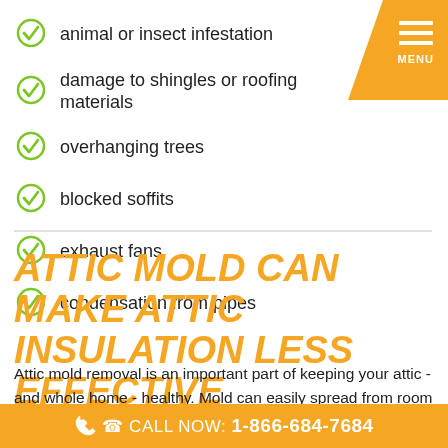animal or insect infestation
damage to shingles or roofing materials
overhanging trees
blocked soffits
exhaust fans
condensation from pipes
ATTIC MOLD CAN MAKE ATTIC INSULATION LESS EFFECTIVE
Attic mold removal is an important part of keeping your attic - and whole home - healthy. Mold can easily spread from room to room in your home and can have negative effects on you and your family's health and wellness, as
CALL NOW: 1-866-684-7684